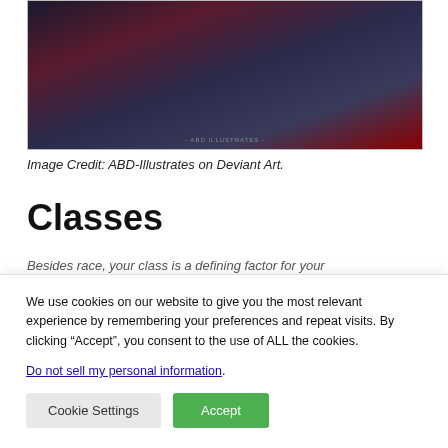[Figure (illustration): Fantasy artwork featuring characters with weapons and red polyhedral dice, with watermark text 'ABD ILLUSTRATES' at bottom center]
Image Credit: ABD-Illustrates on Deviant Art.
Classes
Besides race, your class is a defining factor for your
We use cookies on our website to give you the most relevant experience by remembering your preferences and repeat visits. By clicking “Accept”, you consent to the use of ALL the cookies.
Do not sell my personal information.